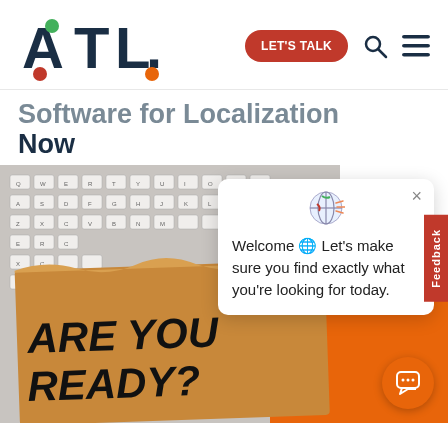[Figure (logo): ATL logo with colored dots]
LET'S TALK
Software for Localization Now
[Figure (photo): Photo of keyboard with torn paper reading ARE YOU READY and orange background]
Welcome 🌐 Let's make sure you find exactly what you're looking for today.
Feedback